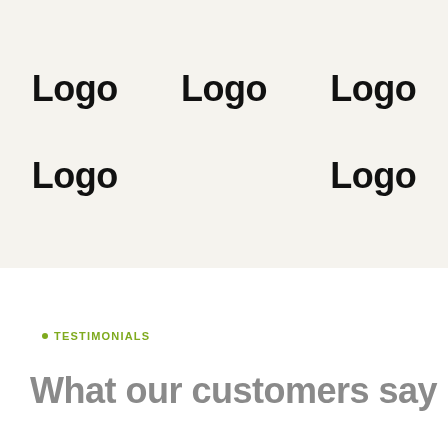[Figure (logo): Five placeholder logo boxes arranged in two rows on a cream background: three in the first row, two in the second row]
TESTIMONIALS
What our customers say